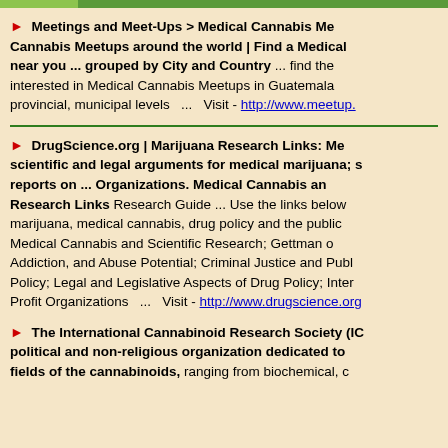Meetings and Meet-Ups > Medical Cannabis Me... Cannabis Meetups around the world | Find a Medical... near you ... grouped by City and Country ... find the ... interested in Medical Cannabis Meetups in Guatemala... provincial, municipal levels ... Visit - http://www.meetup....
DrugScience.org | Marijuana Research Links: Me... scientific and legal arguments for medical marijuana; s... reports on ... Organizations. Medical Cannabis an... Research Links Research Guide ... Use the links below... marijuana, medical cannabis, drug policy and the public... Medical Cannabis and Scientific Research; Gettman o... Addiction, and Abuse Potential; Criminal Justice and Publ... Policy; Legal and Legislative Aspects of Drug Policy; Inter... Profit Organizations ... Visit - http://www.drugscience.org...
The International Cannabinoid Research Society (IC... political and non-religious organization dedicated to... fields of the cannabinoids, ranging from biochemical, c...